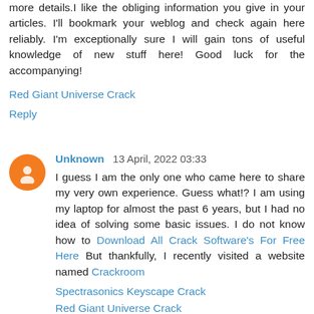more details.I like the obliging information you give in your articles. I'll bookmark your weblog and check again here reliably. I'm exceptionally sure I will gain tons of useful knowledge of new stuff here! Good luck for the accompanying!
Red Giant Universe Crack
Reply
Unknown  13 April, 2022 03:33
I guess I am the only one who came here to share my very own experience. Guess what!? I am using my laptop for almost the past 6 years, but I had no idea of solving some basic issues. I do not know how to Download All Crack Software's For Free Here But thankfully, I recently visited a website named Crackroom
Spectrasonics Keyscape Crack
Red Giant Universe Crack
Maltego Crack
Revo Uninstaller Pro Crack